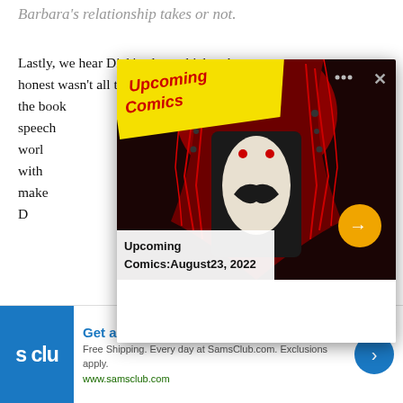Barbara's relationship takes or not.
Lastly, we hear Dick's plan, which to be honest wasn't all that inspirational toward the book g in Dick's speech some real worl millionaire with when you make Someone tell D crying out loud!
[Figure (screenshot): Popup overlay showing a comic character (Batman-like figure in red and black costume) with yellow 'Upcoming Comics' banner. Caption reads 'Upcoming Comics: August23, 2022'. Orange arrow button visible.]
[Figure (screenshot): Advertisement banner for Sam's Club. Blue logo with 's clu' text. Text reads 'Get all the perks with Plus. Free Shipping. Every day at SamsClub.com. Exclusions apply. www.samsclub.com'. Blue arrow button on right.]